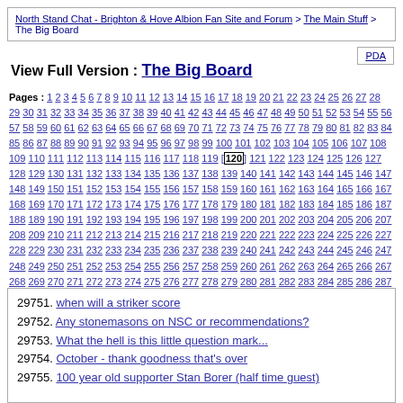North Stand Chat - Brighton & Hove Albion Fan Site and Forum > The Main Stuff > The Big Board
View Full Version : The Big Board
Pages : 1 2 3 4 5 6 7 8 9 10 11 12 13 14 15 16 17 18 19 20 21 22 23 24 25 26 27 28 29 30 31 32 33 34 35 36 37 38 39 40 41 42 43 44 45 46 47 48 49 50 51 52 53 54 55 56 57 58 59 60 61 62 63 64 65 66 67 68 69 70 71 72 73 74 75 76 77 78 79 80 81 82 83 84 85 86 87 88 89 90 91 92 93 94 95 96 97 98 99 100 101 102 103 104 105 106 107 108 109 110 111 112 113 114 115 116 117 118 119 [120] 121 122 123 124 125 126 127 128 129 130 131 132 133 134 135 136 137 138 139 140 141 142 143 144 145 146 147 148 149 150 151 152 153 154 155 156 157 158 159 160 161 162 163 164 165 166 167 168 169 170 171 172 173 174 175 176 177 178 179 180 181 182 183 184 185 186 187 188 189 190 191 192 193 194 195 196 197 198 199 200 201 202 203 204 205 206 207 208 209 210 211 212 213 214 215 216 217 218 219 220 221 222 223 224 225 226 227 228 229 230 231 232 233 234 235 236 237 238 239 240 241 242 243 244 245 246 247 248 249 250 251 252 253 254 255 256 257 258 259 260 261 262 263 264 265 266 267 268 269 270 271 272 273 274 275 276 277 278 279 280 281 282 283 284 285 286 287 288 289 290 291 292 293 294 295 296 297 298 299 300 301 302 303 304 305 306 307 308 309 310 311 312 313 314 315 316 317 318 319 320 321 322 323 324 325 326 327 328 329 330 331 332 333 334 335 336 337 338 339 340 341 342 343 344 345 346 347 348 349 350 351 352 353 354 355 356 357 358 359 360 361 362 363 364 365 366 367 368 369 370 371 372 373 374 375 376 377 378 379 380 381 382 383 384 385 386
29751. when will a striker score
29752. Any stonemasons on NSC or recommendations?
29753. What the hell is this little question mark...
29754. October - thank goodness that's over
29755. 100 year old supporter Stan Borer (half time guest)